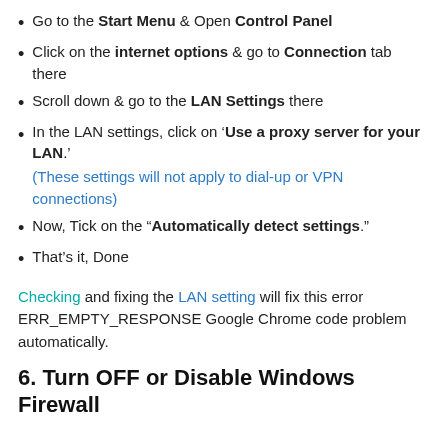Go to the Start Menu & Open Control Panel
Click on the internet options & go to Connection tab there
Scroll down & go to the LAN Settings there
In the LAN settings, click on ‘Use a proxy server for your LAN.’ (These settings will not apply to dial-up or VPN connections)
Now, Tick on the “Automatically detect settings.”
That’s it, Done
Checking and fixing the LAN setting will fix this error ERR_EMPTY_RESPONSE Google Chrome code problem automatically.
6. Turn OFF or Disable Windows Firewall